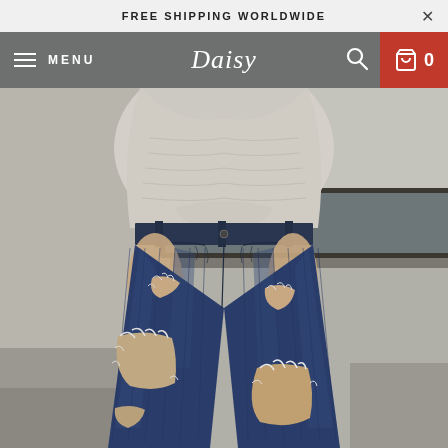FREE SHIPPING WORLDWIDE
MENU  Daisy  0
[Figure (photo): A woman wearing ripped/distressed dark blue skinny jeans and a light grey knit top, photographed from the waist down, standing on concrete steps outdoors. The jeans have large rips at the knees and thigh area.]